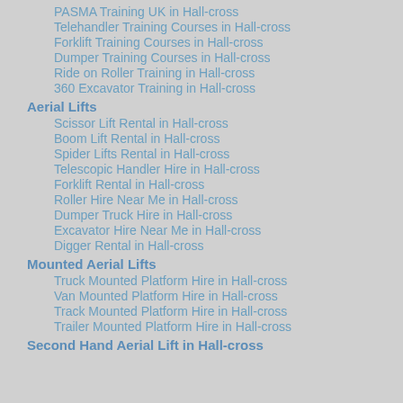PASMA Training UK in Hall-cross
Telehandler Training Courses in Hall-cross
Forklift Training Courses in Hall-cross
Dumper Training Courses in Hall-cross
Ride on Roller Training in Hall-cross
360 Excavator Training in Hall-cross
Aerial Lifts
Scissor Lift Rental in Hall-cross
Boom Lift Rental in Hall-cross
Spider Lifts Rental in Hall-cross
Telescopic Handler Hire in Hall-cross
Forklift Rental in Hall-cross
Roller Hire Near Me in Hall-cross
Dumper Truck Hire in Hall-cross
Excavator Hire Near Me in Hall-cross
Digger Rental in Hall-cross
Mounted Aerial Lifts
Truck Mounted Platform Hire in Hall-cross
Van Mounted Platform Hire in Hall-cross
Track Mounted Platform Hire in Hall-cross
Trailer Mounted Platform Hire in Hall-cross
Second Hand Aerial Lift in Hall-cross